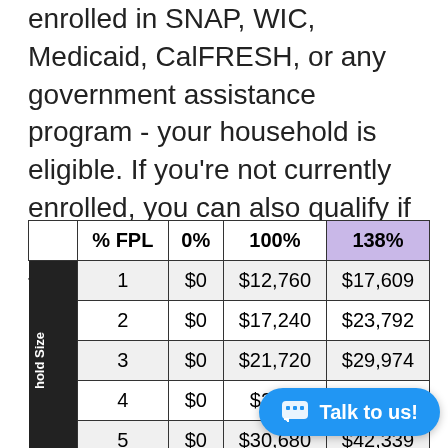enrolled in SNAP, WIC, Medicaid, CalFRESH, or any government assistance program - your household is eligible. If you're not currently enrolled, you can also qualify if your income is less than 138% the federal poverty line.
| % FPL | 0% | 100% | 138% |
| --- | --- | --- | --- |
| 1 | $0 | $12,760 | $17,609 |
| 2 | $0 | $17,240 | $23,792 |
| 3 | $0 | $21,720 | $29,974 |
| 4 | $0 | $26,2__ | ___ |
| 5 | $0 | $30,680 | $42,339 |